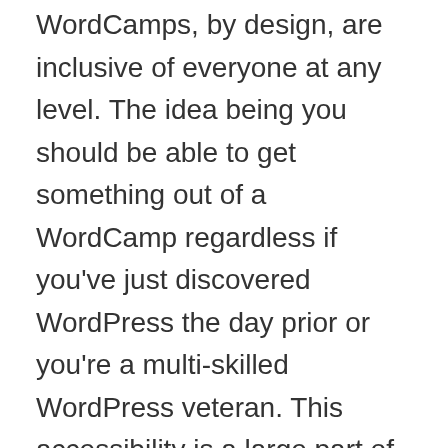WordCamps, by design, are inclusive of everyone at any level. The idea being you should be able to get something out of a WordCamp regardless if you've just discovered WordPress the day prior or you're a multi-skilled WordPress veteran. This accessibility is a large part of what's made WordPress so successful. The WordPress economy is thriving directly because of the platforms reach. As a two-time organizer of a WordCamp myself, I don't question how invaluable WordCamps (and local meet-ups) are. That said, I've had more than one discussion with my peers about how little we (WordPress old timers) personally benefit from a WordCamp. Many I know spend their entire time out in the hallway never attending a single session.